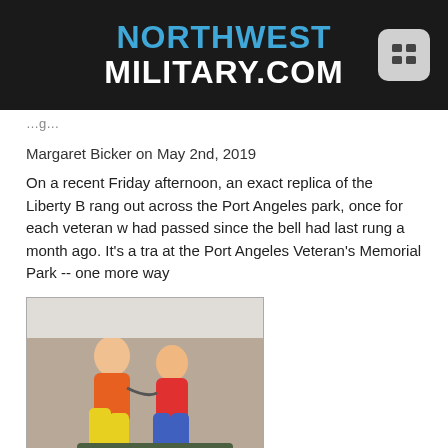NORTHWEST MILITARY.COM
Margaret Bicker on May 2nd, 2019
On a recent Friday afternoon, an exact replica of the Liberty B rang out across the Port Angeles park, once for each veteran w had passed since the bell had last rung a month ago. It's a tra at the Port Angeles Veteran's Memorial Park -- one more way
[Figure (photo): Two people sitting together, one appearing to listen with a stethoscope or similar device]
Military Life
Army spouse cheerfully cares for students
Margaret Bicker on February 14th, 2019